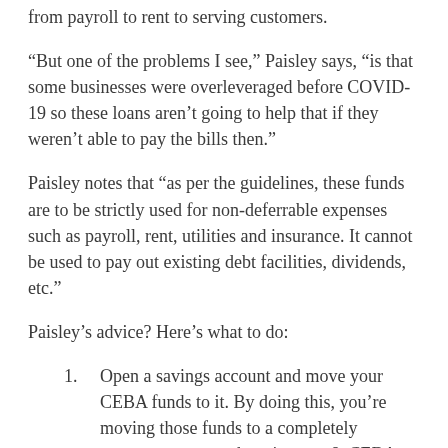from payroll to rent to serving customers.
“But one of the problems I see,” Paisley says, “is that some businesses were overleveraged before COVID-19 so these loans aren’t going to help that if they weren’t able to pay the bills then.”
Paisley notes that “as per the guidelines, these funds are to be strictly used for non-deferrable expenses such as payroll, rent, utilities and insurance. It cannot be used to pay out existing debt facilities, dividends, etc.”
Paisley’s advice? Here’s what to do:
Open a savings account and move your CEBA funds to it. By doing this, you’re moving those funds to a completely separate account where income & CEBA funds cannot be confused. Savings accounts are free accounts, so this